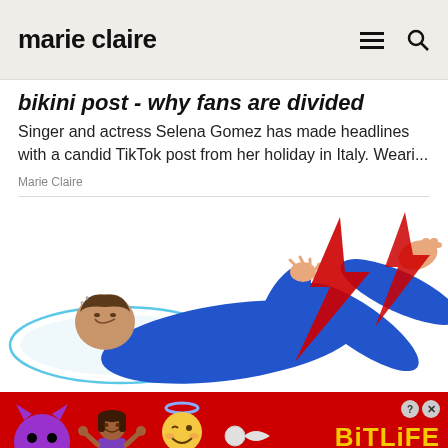marie claire
bikini post - why fans are divided
Singer and actress Selena Gomez has made headlines with a candid TikTok post from her holiday in Italy. Weari...
Marie Claire
[Figure (illustration): Illustration of a person lying on a pillow in blue pajamas with red lightning bolts near their legs, suggesting leg pain or restless legs]
[Figure (other): BitLife game advertisement banner with red background, emoji characters (devil, woman shrugging, angel face, sperm emoji), BitLife logo in yellow, and 'REAL CHOICES' text in white on black]